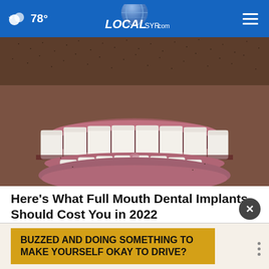78° LOCALsyr.com
[Figure (photo): Close-up photo of a man's mouth showing white dental implants/teeth with stubble beard]
Here's What Full Mouth Dental Implants Should Cost You in 2022
Dental Implants | Search Ads
BUZZED AND DOING SOMETHING TO MAKE YOURSELF OKAY TO DRIVE?